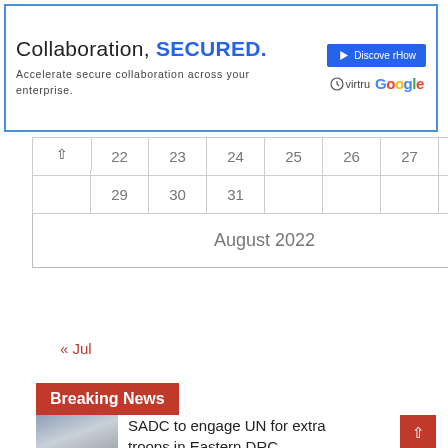[Figure (screenshot): Advertisement banner for Virtru Google collaboration security product. Text: 'Collaboration, SECURED. Accelerate secure collaboration across your enterprise.' with Discover How button, Virtru and Google logos.]
| 22 | 23 | 24 | 25 | 26 | 27 | 28 |
| 29 | 30 | 31 |  |  |  |  |
August 2022
« Jul
Breaking News
SADC to engage UN for extra troops in Eastern DRC